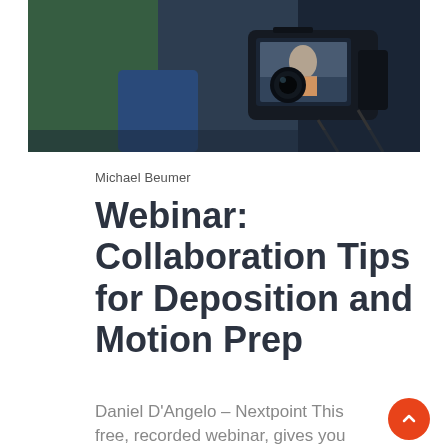[Figure (photo): A DSLR camera with a screen showing a woman being recorded in front of a green background, in a video production setting.]
Michael Beumer
Webinar: Collaboration Tips for Deposition and Motion Prep
Daniel D'Angelo – Nextpoint This free, recorded webinar, gives you